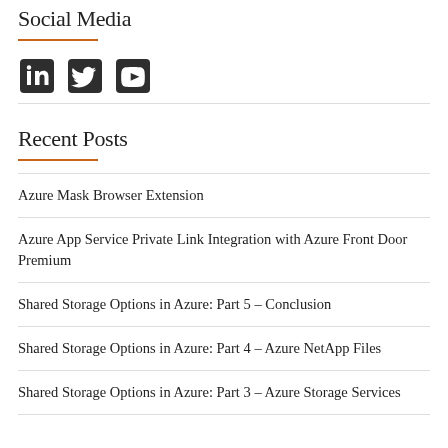Social Media
[Figure (illustration): Three social media icons: LinkedIn, Twitter, YouTube]
Recent Posts
Azure Mask Browser Extension
Azure App Service Private Link Integration with Azure Front Door Premium
Shared Storage Options in Azure: Part 5 – Conclusion
Shared Storage Options in Azure: Part 4 – Azure NetApp Files
Shared Storage Options in Azure: Part 3 – Azure Storage Services